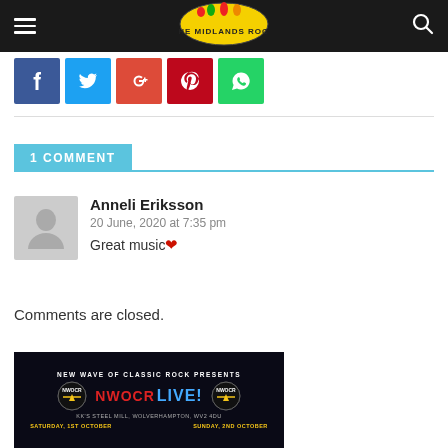The Midlands Rock — navigation bar with hamburger menu and search icon
[Figure (logo): The Midlands Rock logo — colorful figures on yellow oval with text]
[Figure (infographic): Social share buttons: Facebook, Twitter, Google+, Pinterest, WhatsApp]
1 COMMENT
Anneli Eriksson
20 June, 2020 at 7:35 pm
Great music ❤
Comments are closed.
[Figure (photo): New Wave of Classic Rock Presents NWOCR LIVE! banner — KK's Steel Mill, Wolverhampton, WV2 4DU. Saturday 1st October, Sunday 2nd October.]